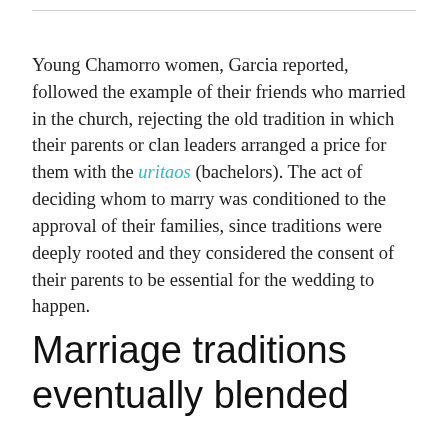Young Chamorro women, Garcia reported, followed the example of their friends who married in the church, rejecting the old tradition in which their parents or clan leaders arranged a price for them with the uritaos (bachelors). The act of deciding whom to marry was conditioned to the approval of their families, since traditions were deeply rooted and they considered the consent of their parents to be essential for the wedding to happen.
Marriage traditions eventually blended